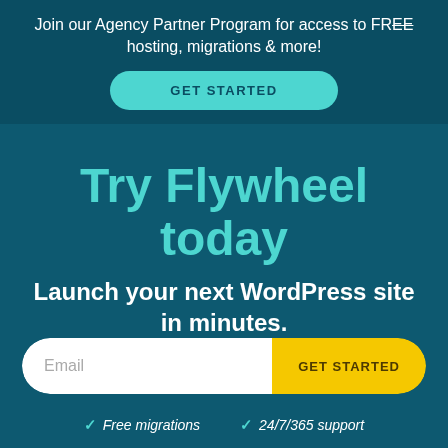Join our Agency Partner Program for access to FREE hosting, migrations & more!
GET STARTED
Try Flywheel today
Launch your next WordPress site in minutes.
Email
GET STARTED
✓ Free migrations
✓ 24/7/365 support